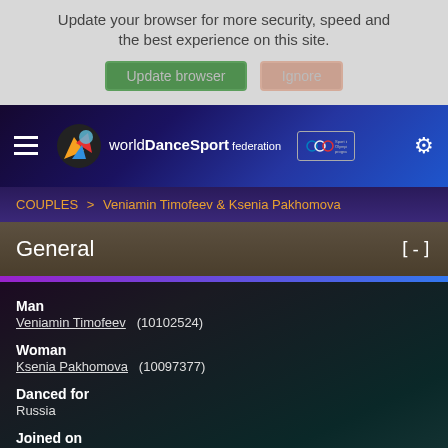Update your browser for more security, speed and the best experience on this site.
Update browser  Ignore
[Figure (screenshot): World DanceSport Federation navigation bar with hamburger menu, logo, Olympic badge, and settings gear icon]
COUPLES > Veniamin Timofeev & Ksenia Pakhomova
General [-]
Man
Veniamin Timofeev (10102524)
Woman
Ksenia Pakhomova (10097377)
Danced for
Russia
Joined on
06 September 2016
Retired on: